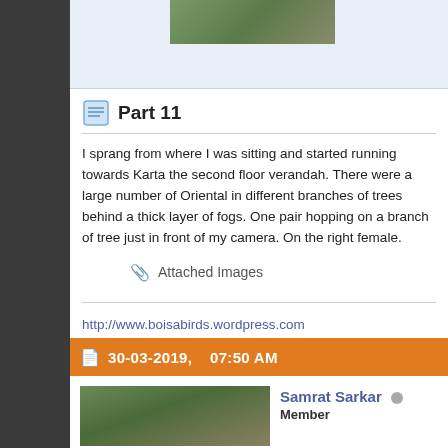[Figure (photo): Thumbnail photo partially visible at top of page]
Part 11
I sprang from where I was sitting and started running towards Karta the second floor verandah. There were a large number of Oriental in different branches of trees behind a thick layer of fogs. One pair hopping on a branch of tree just in front of my camera. On the right female.
Attached Images
http://www.boisabirds.wordpress.com
30-03-2019,   07:50 AM
Samrat Sarkar
Member